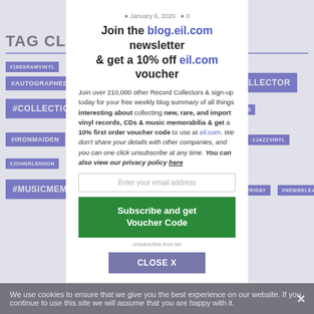TAG CLOUD
#180GRAMVINYL
#33RPM
#45RPM
#AUDIOPHILE
#AUTOGRAPH
#AUTOGRAPHED
#BEATLES
#BLUSPEC
#BROADGAU
#CDCOLLECTOR
#COLLECTIONVINYL
#DVD-AUDIODISCS
#IRONMAIDEN
#JAPANESEVINYL
#JAZZ
#JAZZCOLLECTION
#JAZZVINYL
#JOHNNLENNON
#LEDZEPPELIN
#MADONNA
#MEMORABILIA
#MUSICMEMORABILIA
#NEWCOLLECTIONS
#NEWMUSICFRIDAY
#NEWRELEASES
We use cookies to ensure that we give you the best experience on our website. If you continue to use this site we will assume that you are happy with it.
Join the blog.eil.com newsletter & get a 10% off eil.com voucher
Join over 210,000 other Record Collectors & sign-up today for your free weekly blog summary of all things interesting about collecting new, rare, and import vinyl records, CDs & music memorabilia & get a 10% first order voucher code to use at eil.com. We don't share your details with other companies, and you can one click unsubscribe at any time. You can also view our privacy policy here
Enter your email address
Subscribe and get Voucher Code
CLOSE X
January 6, 2020   0